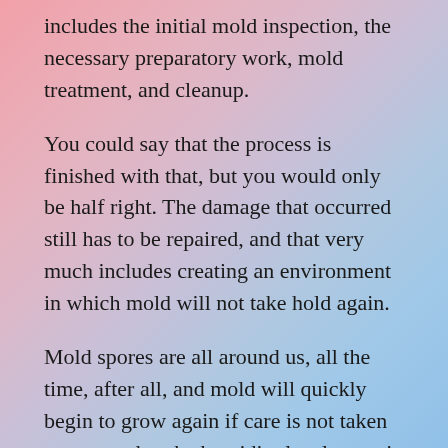includes the initial mold inspection, the necessary preparatory work, mold treatment, and cleanup.
You could say that the process is finished with that, but you would only be half right. The damage that occurred still has to be repaired, and that very much includes creating an environment in which mold will not take hold again.
Mold spores are all around us, all the time, after all, and mold will quickly begin to grow again if care is not taken to ensure that the humidity levels remain between 30 and 50 percent and there are no leaks. In addition, if the mold infestation caused structural damage, that will have to be fixed — a process that can take a very long time.